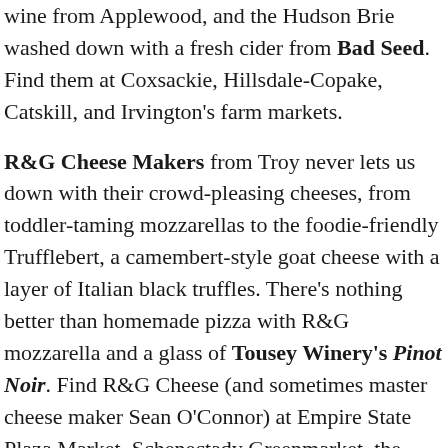wine from Applewood, and the Hudson Brie washed down with a fresh cider from Bad Seed. Find them at Coxsackie, Hillsdale-Copake, Catskill, and Irvington's farm markets.
R&G Cheese Makers from Troy never lets us down with their crowd-pleasing cheeses, from toddler-taming mozzarellas to the foodie-friendly Trufflebert, a camembert-style goat cheese with a layer of Italian black truffles. There's nothing better than homemade pizza with R&G mozzarella and a glass of Tousey Winery's Pinot Noir. Find R&G Cheese (and sometimes master cheese maker Sean O'Connor) at Empire State Plaza Market, Schenectady Greenmarket, the Troy Waterfront Farmers Market, Saratoga Farmers' Market, and Delmar Saturday Market.
For a special occasion, there's Old Chatham Sheepherding, a cheesemaker with more gold awards than Michael Phelps. Founded by Nancy and Tom Clark in 1993 when they bought 600 acres of grassy fields in Old Chatham, they crank out phenomenal sheep's cheeses like Old Chatham's Camembert and